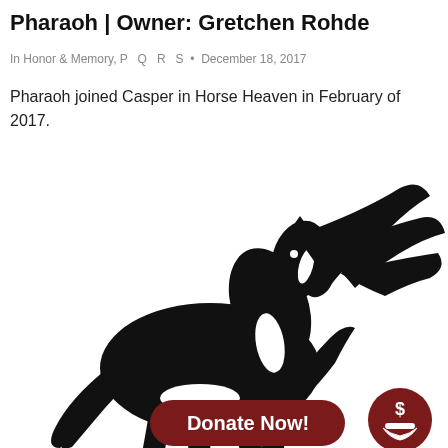Pharaoh | Owner: Gretchen Rohde
In Honor & Memory, P  Q  R  S  •  December 18, 2017
Pharaoh joined Casper in Horse Heaven in February of 2017.
[Figure (illustration): Black silhouette illustration of a rearing horse with flowing mane, with a dark red 'Donate Now!' button and a dollar sign icon overlaid at the bottom.]